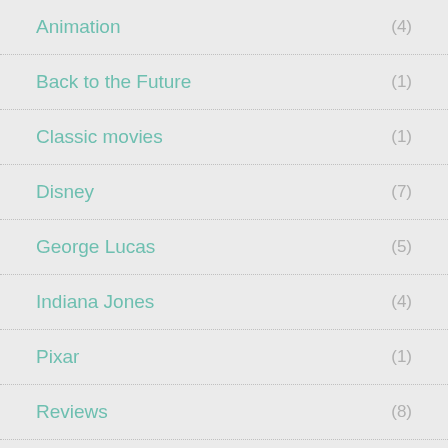Animation (4)
Back to the Future (1)
Classic movies (1)
Disney (7)
George Lucas (5)
Indiana Jones (4)
Pixar (1)
Reviews (8)
Star Wars (1)
Steven Spielberg (8)